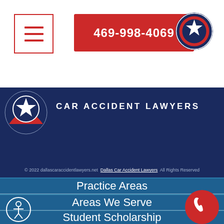469-998-4069
[Figure (logo): Texas star circular logo top right]
[Figure (logo): Texas state star circular logo in dark navy banner]
CAR ACCIDENT LAWYERS
© 2022 dallascaraccidentlawyers.net  Dallas Car Accident Lawyers  All Rights Reserved
Practice Areas
Areas We Serve
Student Scholarship